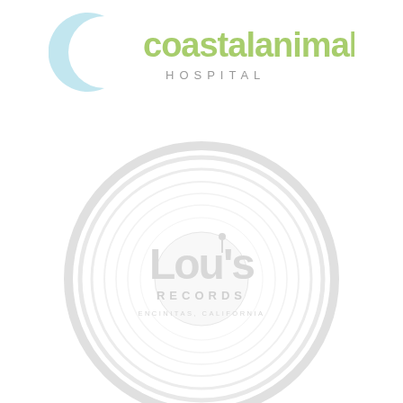[Figure (logo): Coastal Animal Hospital logo: a light blue crescent/C shape on the left, with 'coastalanimal' text in teal/green and 'HOSPITAL' in spaced gray letters below]
[Figure (logo): Lou's Records circular logo watermark: a large light gray circle with concentric rings, bold 'Lou's' text in the center with a small figure, 'RECORDS' below in spaced letters, and 'ENCINITAS, CALIFORNIA' in small text beneath]